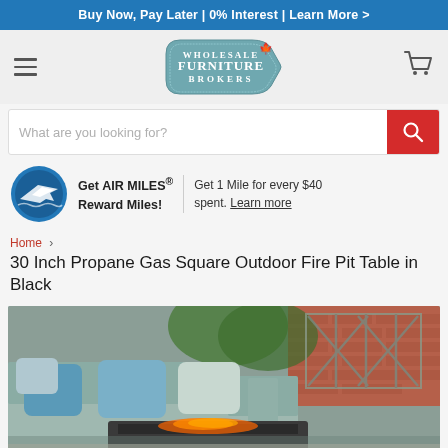Buy Now, Pay Later | 0% Interest | Learn More >
[Figure (logo): Wholesale Furniture Brokers logo with Canadian maple leaf]
[Figure (infographic): Search bar with placeholder text 'What are you looking for?' and red search button]
Get AIR MILES® Reward Miles! Get 1 Mile for every $40 spent. Learn more
Home › 30 Inch Propane Gas Square Outdoor Fire Pit Table in Black
30 Inch Propane Gas Square Outdoor Fire Pit Table in Black
[Figure (photo): Outdoor patio scene with a grey sectional sofa with blue cushions, a fire pit table with flames, and a brick wall background with lattice fence]